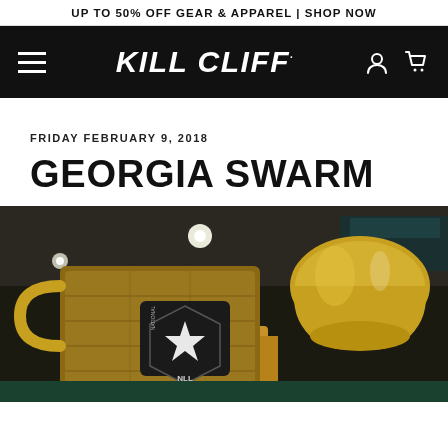UP TO 50% OFF GEAR & APPAREL | SHOP NOW
[Figure (logo): Kill Cliff brand logo in white italic bold text on black navigation bar, with hamburger menu icon on left and user/cart icons on right]
FRIDAY FEBRUARY 9, 2018
GEORGIA SWARM
[Figure (photo): Close-up photo of the NLL (National Lacrosse League) Champions Cup trophy, a large golden and wooden trophy, photographed from below inside an arena]